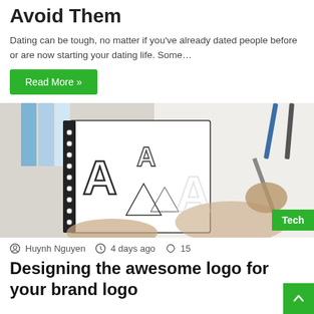Avoid Them
Dating can be tough, no matter if you've already dated people before or are now starting your dating life. Some…
Read More »
[Figure (photo): Person sketching logo designs in a notebook, with pencil drawing 'A' letter mark variations on paper, blue color swatches in background, and a hand drawing on white paper in foreground.]
Tech
Huynh Nguyen   4 days ago   15
Designing the awesome logo for your brand logo